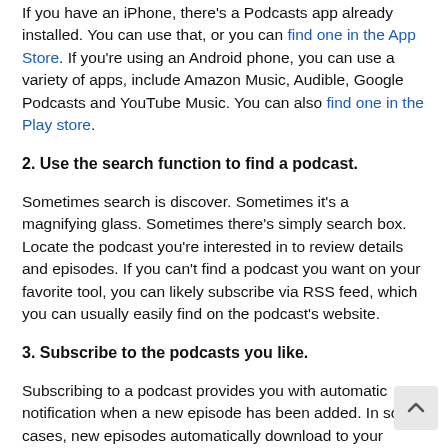If you have an iPhone, there's a Podcasts app already installed. You can use that, or you can find one in the App Store. If you're using an Android phone, you can use a variety of apps, include Amazon Music, Audible, Google Podcasts and YouTube Music. You can also find one in the Play store.
2. Use the search function to find a podcast.
Sometimes search is discover. Sometimes it's a magnifying glass. Sometimes there's simply search box. Locate the podcast you're interested in to review details and episodes. If you can't find a podcast you want on your favorite tool, you can likely subscribe via RSS feed, which you can usually easily find on the podcast's website.
3. Subscribe to the podcasts you like.
Subscribing to a podcast provides you with automatic notification when a new episode has been added. In some cases, new episodes automatically download to your